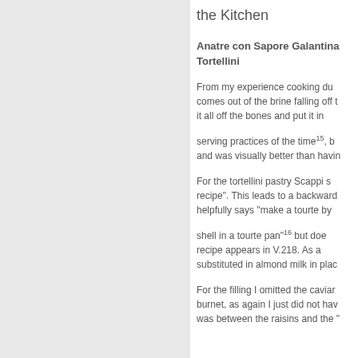the Kitchen
Anatre con Sapore Galantina Tortellini
From my experience cooking du comes out of the brine falling off t it all off the bones and put it in
serving practices of the time¹⁵, b and was visually better than havin
For the tortellini pastry Scappi s recipe". This leads to a backward helpfully says "make a tourte by
shell in a tourte pan"¹⁶ but doe recipe appears in V.218. As a substituted in almond milk in plac
For the filling I omitted the caviar burnet, as again I just did not hav was between the raisins and the "